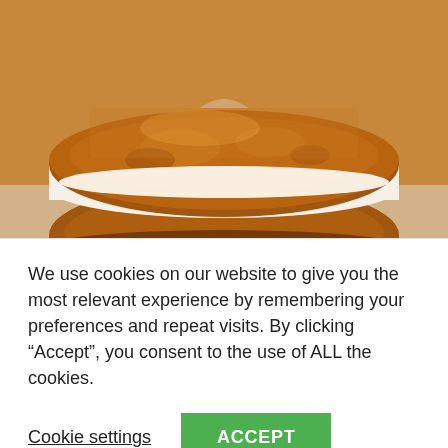[Figure (photo): Close-up photo of a pumpkin whoopie pie with cream cheese filling, showing a golden-brown baked sandwich cookie with white cream cheese filling visible between two halves.]
Pumpkin Whoopie Pies with Cream Cheese Filling
We use cookies on our website to give you the most relevant experience by remembering your preferences and repeat visits. By clicking “Accept”, you consent to the use of ALL the cookies.
Cookie settings   ACCEPT